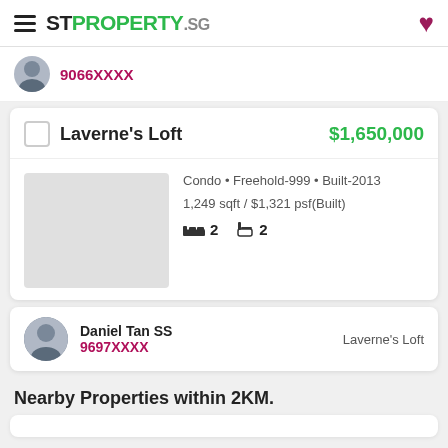STPROPERTY.SG
9066XXXX
Laverne's Loft  $1,650,000
Condo • Freehold-999 • Built-2013
1,249 sqft / $1,321 psf(Built)
🛏 2  🚿 2
Daniel Tan SS
9697XXXX
Laverne's Loft
Nearby Properties within 2KM.